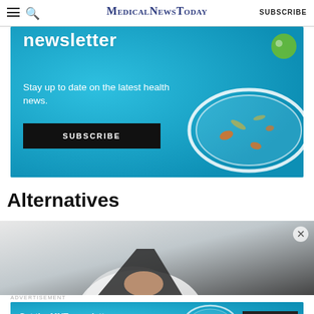MedicalNewsToday  SUBSCRIBE
[Figure (illustration): Blue banner advertisement for MNT newsletter showing 'newsletter' heading, 'Stay up to date on the latest health news.', a SUBSCRIBE button, and a petri dish illustration on the right]
Alternatives
[Figure (photo): Photo of a person in a white lab coat (doctor/scientist), cropped, with blurred background]
ADVERTISEMENT
[Figure (illustration): Blue bottom banner advertisement: 'Get the MNT newsletter' with 'Subscribe to receive our top news articles.' and a SUBSCRIBE button]